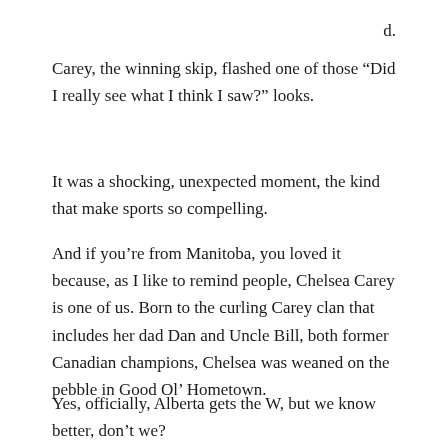d.
Carey, the winning skip, flashed one of those “Did I really see what I think I saw?” looks.
It was a shocking, unexpected moment, the kind that make sports so compelling.
And if you’re from Manitoba, you loved it because, as I like to remind people, Chelsea Carey is one of us. Born to the curling Carey clan that includes her dad Dan and Uncle Bill, both former Canadian champions, Chelsea was weaned on the pebble in Good Ol’ Hometown.
Yes, officially, Alberta gets the W, but we know better, don’t we?